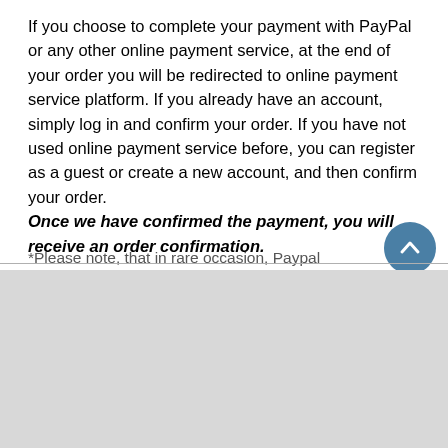If you choose to complete your payment with PayPal or any other online payment service, at the end of your order you will be redirected to online payment service platform. If you already have an account, simply log in and confirm your order. If you have not used online payment service before, you can register as a guest or create a new account, and then confirm your order. Once we have confirmed the payment, you will receive an order confirmation.
*Please note, that in rare occasion, Paypal
Uzņēmums Google nodrošina sīkfailus, lai analizētu datplūsmu uz šo vietni. Tāpēc informācija par to, kā izmantojat mūsu vietni, tiek kopīgota ar uzņēmumu Google.
Skatīt detalizētu informāciju
Labi